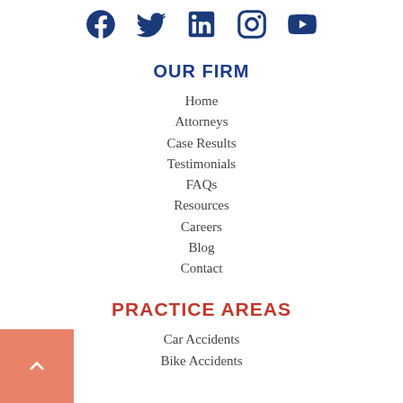[Figure (illustration): Row of five social media icons: Facebook, Twitter, LinkedIn, Instagram, YouTube — all in dark blue]
OUR FIRM
Home
Attorneys
Case Results
Testimonials
FAQs
Resources
Careers
Blog
Contact
PRACTICE AREAS
Car Accidents
Bike Accidents